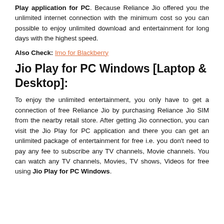Play application for PC. Because Reliance Jio offered you the unlimited internet connection with the minimum cost so you can possible to enjoy unlimited download and entertainment for long days with the highest speed.
Also Check: Imo for Blackberry
Jio Play for PC Windows [Laptop & Desktop]:
To enjoy the unlimited entertainment, you only have to get a connection of free Reliance Jio by purchasing Reliance Jio SIM from the nearby retail store. After getting Jio connection, you can visit the Jio Play for PC application and there you can get an unlimited package of entertainment for free i.e. you don't need to pay any fee to subscribe any TV channels, Movie channels. You can watch any TV channels, Movies, TV shows, Videos for free using Jio Play for PC Windows.